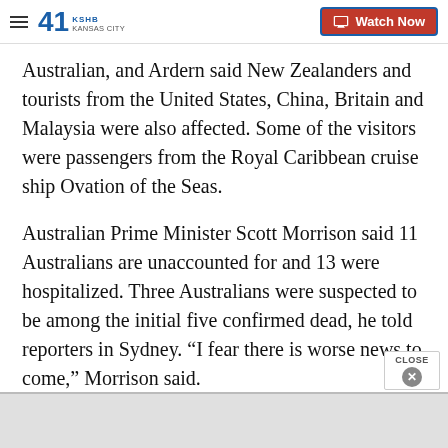KSHB 41 Kansas City | Watch Now
Australian, and Ardern said New Zealanders and tourists from the United States, China, Britain and Malaysia were also affected. Some of the visitors were passengers from the Royal Caribbean cruise ship Ovation of the Seas.
Australian Prime Minister Scott Morrison said 11 Australians are unaccounted for and 13 were hospitalized. Three Australians were suspected to be among the initial five confirmed dead, he told reporters in Sydney. “I fear there is worse news to come,” Morrison said.